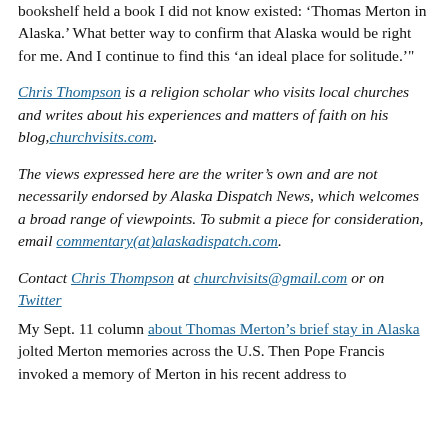bookshelf held a book I did not know existed: 'Thomas Merton in Alaska.' What better way to confirm that Alaska would be right for me. And I continue to find this 'an ideal place for solitude.'
Chris Thompson is a religion scholar who visits local churches and writes about his experiences and matters of faith on his blog, churchvisits.com.
The views expressed here are the writer's own and are not necessarily endorsed by Alaska Dispatch News, which welcomes a broad range of viewpoints. To submit a piece for consideration, email commentary(at)alaskadispatch.com.
Contact Chris Thompson at churchvisits@gmail.com or on Twitter
My Sept. 11 column about Thomas Merton's brief stay in Alaska jolted Merton memories across the U.S. Then Pope Francis invoked a memory of Merton in his recent address to